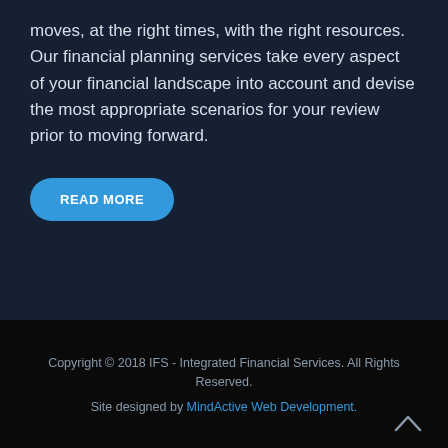moves, at the right times, with the right resources. Our financial planning services take every aspect of your financial landscape into account and devise the most appropriate scenarios for your review prior to moving forward.
READ MORE
Copyright © 2018 IFS - Integrated Financial Services. All Rights Reserved.
Site designed by MindActive Web Development.